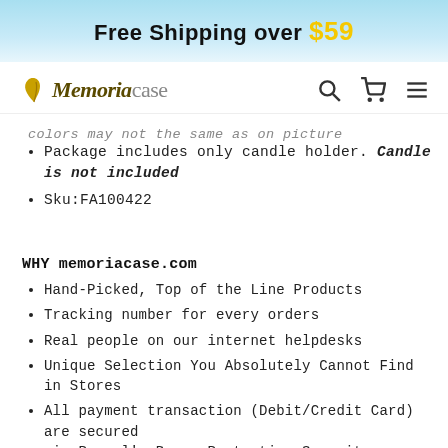Free Shipping over $59
[Figure (logo): Memoriacase logo with butterfly leaf icon]
colors may not the same as on picture
Package includes only candle holder. Candle is not included
Sku:FA100422
WHY memoriacase.com
Hand-Picked, Top of the Line Products
Tracking number for every orders
Real people on our internet helpdesks
Unique Selection You Absolutely Cannot Find in Stores
All payment transaction (Debit/Credit Card) are secured via Paypal's Buyer Protection Security